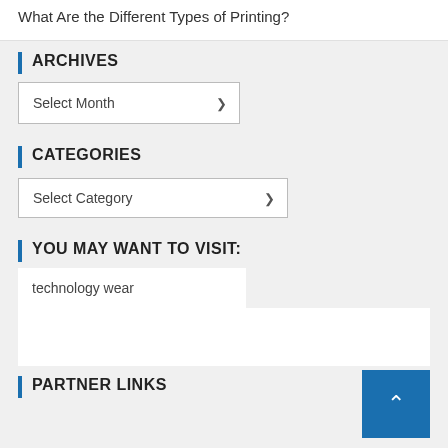What Are the Different Types of Printing?
ARCHIVES
Select Month
CATEGORIES
Select Category
YOU MAY WANT TO VISIT:
technology wear
PARTNER LINKS
YOU MAY HAVE MISSED